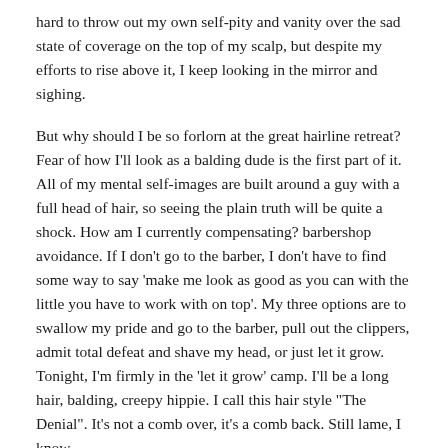hard to throw out my own self-pity and vanity over the sad state of coverage on the top of my scalp, but despite my efforts to rise above it, I keep looking in the mirror and sighing.
But why should I be so forlorn at the great hairline retreat? Fear of how I'll look as a balding dude is the first part of it. All of my mental self-images are built around a guy with a full head of hair, so seeing the plain truth will be quite a shock. How am I currently compensating? barbershop avoidance. If I don't go to the barber, I don't have to find some way to say 'make me look as good as you can with the little you have to work with on top'. My three options are to swallow my pride and go to the barber, pull out the clippers, admit total defeat and shave my head, or just let it grow. Tonight, I'm firmly in the 'let it grow' camp. I'll be a long hair, balding, creepy hippie. I call this hair style "The Denial". It's not a comb over, it's a comb back. Still lame, I know.
This is the next obvious indicator of a mid-life into a cross mid-